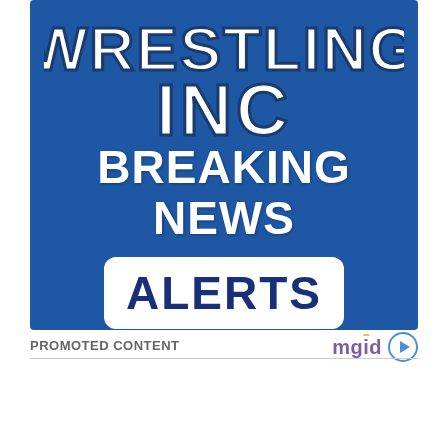[Figure (illustration): Wrestling Inc Breaking News Alerts promotional banner with blue background. Large white block letters spell 'WRESTLING INC' at top in arched collegiate style font. Below that in white text 'BREAKING NEWS'. At the bottom a white rounded rectangle button contains dark navy bold text 'ALERTS'.]
PROMOTED CONTENT
[Figure (logo): mgid logo in purple/blue text with a play button icon to the right]